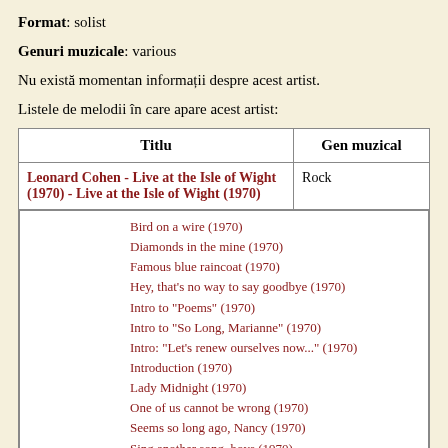Format: solist
Genuri muzicale: various
Nu există momentan informații despre acest artist.
Listele de melodii în care apare acest artist:
| Titlu | Gen muzical |
| --- | --- |
| Leonard Cohen - Live at the Isle of Wight (1970) - Live at the Isle of Wight (1970) | Rock |
| Bird on a wire (1970)
Diamonds in the mine (1970)
Famous blue raincoat (1970)
Hey, that's no way to say goodbye (1970)
Intro to "Poems" (1970)
Intro to "So Long, Marianne" (1970)
Intro: "Let's renew ourselves now..." (1970)
Introduction (1970)
Lady Midnight (1970)
One of us cannot be wrong (1970)
Seems so long ago, Nancy (1970)
Sing another song, boys (1970)
So Long, Marianne (1970)
Suzanne (1970)
The partisan (1970)
The stranger song (1970)
They locked up a man (Poem) / A person who eats meat / Intro (1970)
Tonight will be fine (1970)
You know who I am (1970) |  |